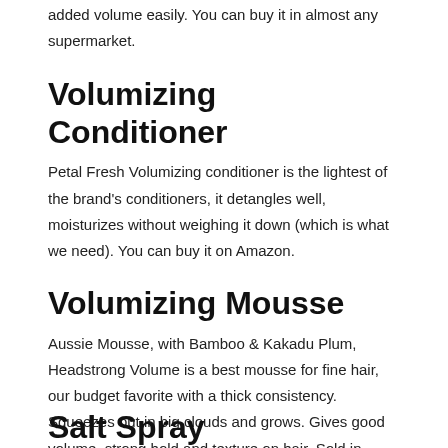…added volume easily. You can buy it in almost any supermarket.
Volumizing Conditioner
Petal Fresh Volumizing conditioner is the lightest of the brand's conditioners, it detangles well, moisturizes without weighing it down (which is what we need). You can buy it on Amazon.
Volumizing Mousse
Aussie Mousse, with Bamboo & Kakadu Plum, Headstrong Volume is a best mousse for fine hair, our budget favorite with a thick consistency. Squeezes out in big clouds and grows. Gives good volume, strong hold and texture on hair. Sold in many supermarkets.
Salt Spray